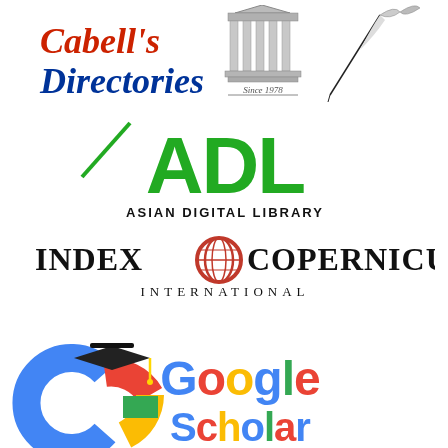[Figure (logo): Cabell's Directories logo with red and blue script text, a grey classical building/columns icon, and a quill pen, with 'Since 1978' text]
[Figure (logo): ADL Asian Digital Library logo with large green stylized letters ADL and text 'ASIAN DIGITAL LIBRARY' below]
[Figure (logo): Index Copernicus International logo with globe icon in red/dark red and text 'INDEX COPERNICUS INTERNATIONAL']
[Figure (logo): Google Scholar logo with colorful G letter and graduation cap, with text 'Google Scholar']